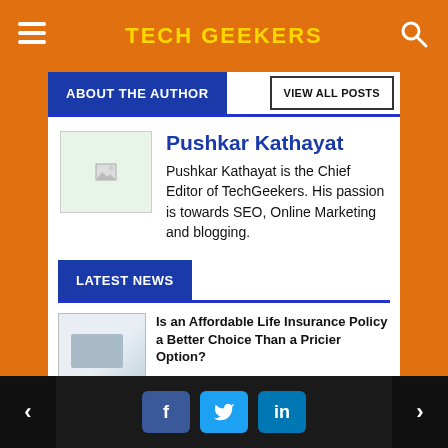TECH GEEKERS
ABOUT THE AUTHOR
VIEW ALL POSTS
Pushkar Kathayat
Pushkar Kathayat is the Chief Editor of TechGeekers. His passion is towards SEO, Online Marketing and blogging.
LATEST NEWS
Is an Affordable Life Insurance Policy a Better Choice Than a Pricier Option?
7 Benefits Of An ERP System For Your